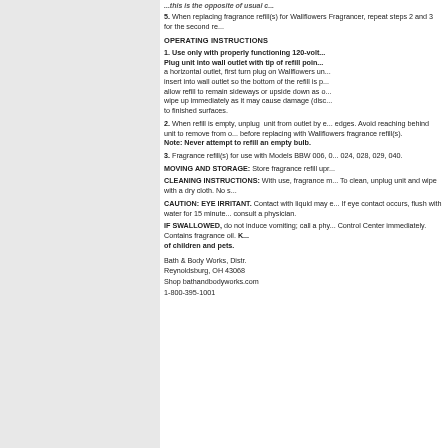...this is the opposite of usual c...
5. When replacing fragrance refill(s) for Wallflowers Fragrancer, repeat steps 2 and 3 for the second re...
OPERATING INSTRUCTIONS
1. Use only with properly functioning 120-volt... Plug unit into wall outlet with tip of refill poin... a horizontal outlet, first turn plug on Wallflowers un... insert into wall outlet so the bottom of the refill is p... allow refill to remain sideways or upside down as o... wipe up immediately as it may cause damage (disc... to finished surfaces.
2. When refill is empty, unplug unit from outlet by e... edges. Avoid reaching behind unit to remove from o... before replacing with Wallflowers fragrance refill(s). Note: Never attempt to refill an empty bulb.
3. Fragrance refill(s) for use with Models BBW 006, 024, 028, 029, 040.
MOVING AND STORAGE: Store fragrance refill upr...
CLEANING INSTRUCTIONS: With use, fragrance m... To clean, unplug unit and wipe with a dry cloth. No s...
CAUTION: EYE IRRITANT. Contact with liquid may e... If eye contact occurs, flush with water for 15 minute... consult a physician.
IF SWALLOWED, do not induce vomiting; call a phy... Control Center immediately. Contains fragrance oil. K... of children and pets.
Bath & Body Works, Distr.
Reynoldsburg, OH 43068
Shop bathandbodyworks.com
1-800-395-1001